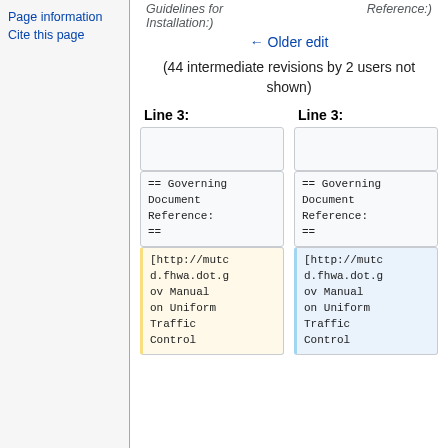Page information
Cite this page
Guidelines for Installation:)
Reference:)
← Older edit
(44 intermediate revisions by 2 users not shown)
| Line 3: | Line 3: |
| --- | --- |
|  |  |
| == Governing Document Reference: == | == Governing Document Reference: == |
| [http://mutcd.fhwa.dot.gov Manual on Uniform Traffic Control | [http://mutcd.fhwa.dot.gov Manual on Uniform Traffic Control |